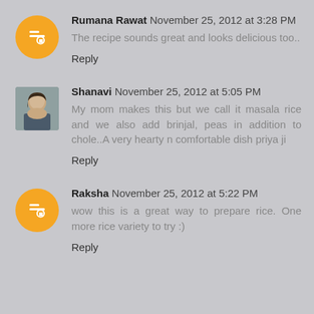Rumana Rawat November 25, 2012 at 3:28 PM
The recipe sounds great and looks delicious too..
Reply
Shanavi November 25, 2012 at 5:05 PM
My mom makes this but we call it masala rice and we also add brinjal, peas in addition to chole..A very hearty n comfortable dish priya ji
Reply
Raksha November 25, 2012 at 5:22 PM
wow this is a great way to prepare rice. One more rice variety to try :)
Reply